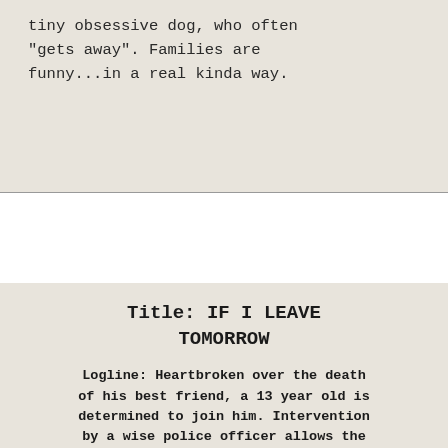tiny obsessive dog, who often "gets away". Families are funny...in a real kinda way.
Title: IF I LEAVE TOMORROW
Logline: Heartbroken over the death of his best friend, a 13 year old is determined to join him. Intervention by a wise police officer allows the boy to find hope and a new meaning for his life.
Synopsis: Anguishing over his